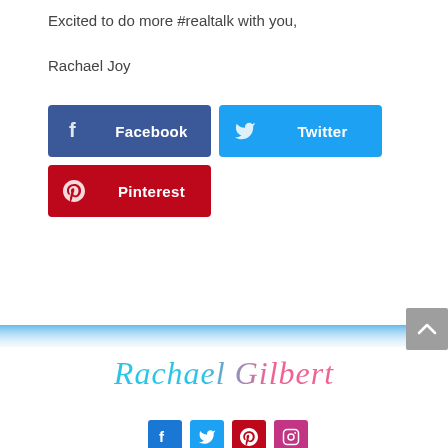Excited to do more #realtalk with you,
Rachael Joy
[Figure (other): Social sharing buttons: Facebook (dark blue), Twitter (light blue), Pinterest (red)]
[Figure (other): Horizontal blue gradient divider line across the page]
[Figure (other): Gray scroll-to-top arrow button in bottom right]
Rachael Gilbert (cursive signature logo in cyan-to-pink gradient)
[Figure (other): Row of social media icon buttons: Facebook, Twitter, Pinterest, Instagram]